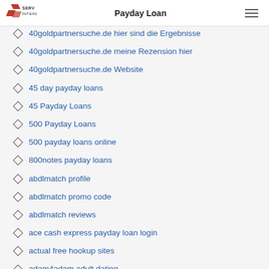ServPatIende — Payday Loan
40goldpartnersuche.de hier sind die Ergebnisse
40goldpartnersuche.de meine Rezension hier
40goldpartnersuche.de Website
45 day payday loans
45 Payday Loans
500 Payday Loans
500 payday loans online
800notes payday loans
abdlmatch profile
abdlmatch promo code
abdlmatch reviews
ace cash express payday loan login
actual free hookup sites
adam4adam adult dating
adam4adam adult dating online
adam4adam app